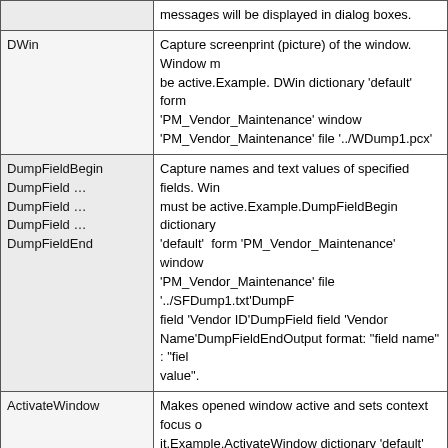| Command | Description |
| --- | --- |
|  | messages will be displayed in dialog boxes. |
| DWin | Capture screenprint (picture) of the window. Window must be active.Example. DWin dictionary 'default'  form 'PM_Vendor_Maintenance' window 'PM_Vendor_Maintenance' file '../WDump1.pcx' |
| DumpFieldBegin
DumpField …
DumpField …
DumpField …
DumpFieldEnd | Capture names and text values of specified fields. Window must be active.Example.DumpFieldBegin dictionary 'default'  form 'PM_Vendor_Maintenance' window 'PM_Vendor_Maintenance' file '../SFDump1.txt'DumpField field 'Vendor ID'DumpField field 'Vendor Name'DumpFieldEndOutput format: "field name" : "field value". |
| ActivateWindow | Makes opened window active and sets context focus on it.Example.ActivateWindow dictionary 'default'  form 'PM_Vendor_Maintenance' window 'PM_Vendor_Maintenance' |
| CloseWindow | Closes opened window.Example.CloseWindow dictionary 'default'  form 'PM_Vendor_Maintenance' window 'PM_Vendor_Maintenance' |
| NewActiveWin | Sets context focus on a window. Note: it doesn't open or activate a window.Example.NewActiveWin dictionary 'default'  form 'PM_Vendor_Maintenance' window 'PM_Vendor_Maintenance' |